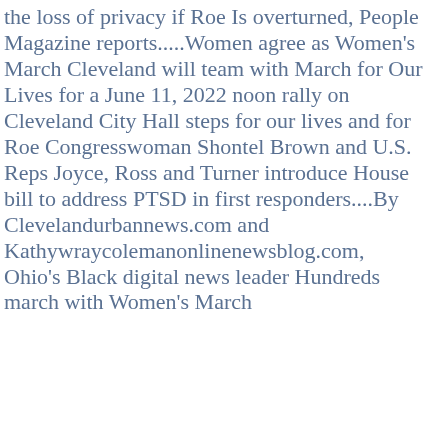the loss of privacy if Roe Is overturned, People Magazine reports.....Women agree as Women's March Cleveland will team with March for Our Lives for a June 11, 2022 noon rally on Cleveland City Hall steps for our lives and for Roe Congresswoman Shontel Brown and U.S. Reps Joyce, Ross and Turner introduce House bill to address PTSD in first responders....By Clevelandurbannews.com and Kathywraycolemanonlinenewsblog.com, Ohio's Black digital news leader Hundreds march with Women's March